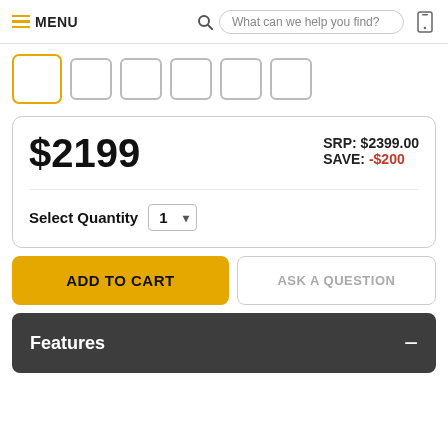MENU  What can we help you find?
[Figure (screenshot): Row of product thumbnail image selectors, first one highlighted with yellow border]
$2199
SRP: $2399.00
SAVE: -$200
Select Quantity  1
ADD TO CART
ASK A QUESTION
Features